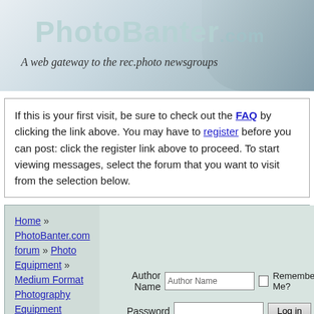[Figure (logo): PhotoBanter.com logo banner with camera image and tagline 'A web gateway to the rec.photo newsgroups']
If this is your first visit, be sure to check out the FAQ by clicking the link above. You may have to register before you can post: click the register link above to proceed. To start viewing messages, select the forum that you want to visit from the selection below.
Home » PhotoBanter.com forum » Photo Equipment » Medium Format Photography Equipment Fuji GS645S pro rangefinder adjustment
Author Name | Password | Remember Me? | Log in
Site Map   Home   Register   Authors List   Today's Posts   Search   Web Partners